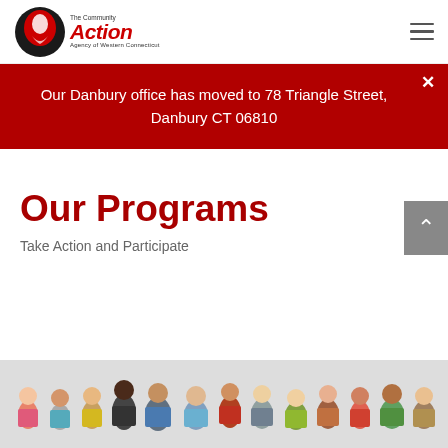[Figure (logo): The Community Action Agency of Western Connecticut logo with red swirl icon and bold red italic 'Action' text]
Our Danbury office has moved to 78 Triangle Street, Danbury CT 06810
Our Programs
Take Action and Participate
[Figure (photo): Group photo of diverse people standing together]